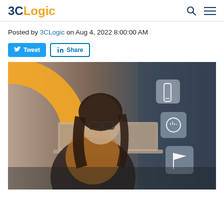3CLogic
Posted by 3CLogic on Aug 4, 2022 8:00:00 AM
Tweet  Share
[Figure (photo): Woman with glasses wearing a leather jacket working on a laptop, with an orange arc graphic in the background and three floating icon boxes on the right showing phone, audio/chat, and flag icons]